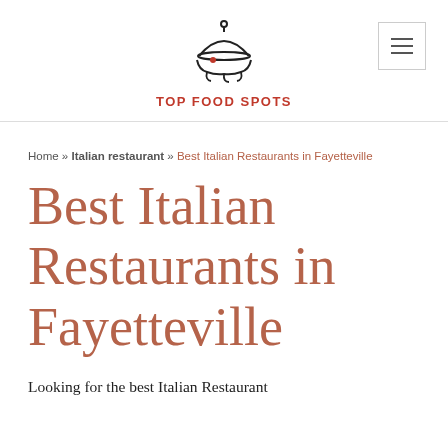[Figure (logo): Top Food Spots logo: a cloche/serving dish with a hand underneath, drawn in black and red, with the text TOP FOOD SPOTS in red below]
Home » Italian restaurant » Best Italian Restaurants in Fayetteville
Best Italian Restaurants in Fayetteville
Looking for the best Italian Restaurant